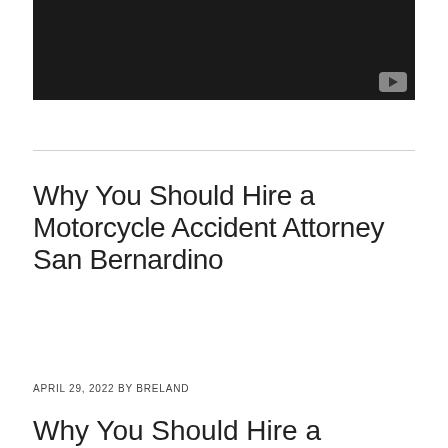[Figure (screenshot): Dark/black video thumbnail with a YouTube play button icon in the lower right corner]
Why You Should Hire a Motorcycle Accident Attorney San Bernardino
APRIL 29, 2022 by BRELAND
Why You Should Hire a